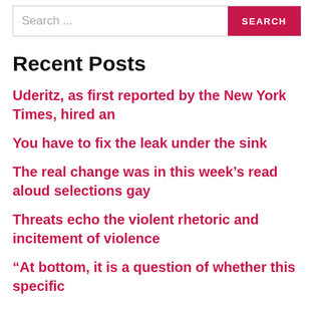Search ...
Recent Posts
Uderitz, as first reported by the New York Times, hired an
You have to fix the leak under the sink
The real change was in this week’s read aloud selections gay
Threats echo the violent rhetoric and incitement of violence
“At bottom, it is a question of whether this specific